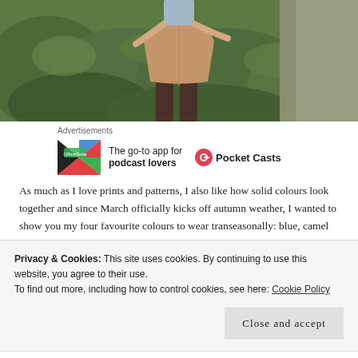[Figure (photo): A person wearing a camel/tan mini skirt and tights, standing outdoors near green shrubs and a pathway. Only the lower torso and legs are visible.]
Advertisements
[Figure (logo): Advertisement banner: colorful app logo on the left, text 'The go-to app for podcast lovers' in the center, and Pocket Casts logo with name on the right.]
As much as I love prints and patterns, I also like how solid colours look together and since March officially kicks off autumn weather, I wanted to show you my four favourite colours to wear transeasonally: blue, camel
Privacy & Cookies: This site uses cookies. By continuing to use this website, you agree to their use.
To find out more, including how to control cookies, see here: Cookie Policy
Close and accept